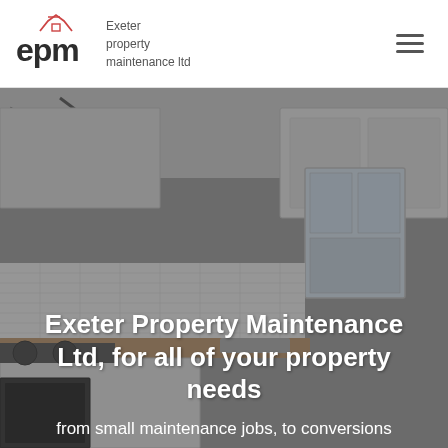[Figure (logo): EPM logo — stylized 'epm' text in dark grey with a small house/roof icon in pink/red above, alongside text reading 'Exeter property maintenance ltd']
Exeter Property Maintenance Ltd, for all of your property needs
[Figure (photo): Kitchen interior photo with white cabinets, subway tile backsplash, wooden countertop, window, and ceiling spotlights, shown with a dark semi-transparent overlay]
from small maintenance jobs, to conversions